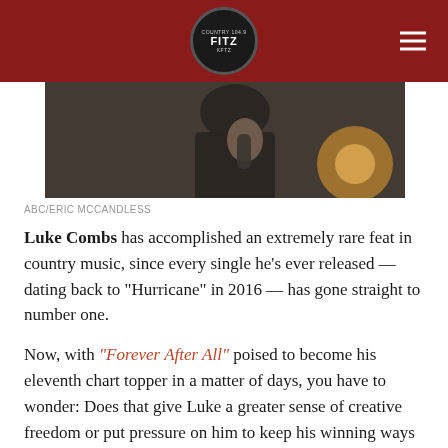[Figure (logo): Country radio station FITZ logo in circular badge on dark red header bar with hamburger menu icon]
[Figure (photo): Partial photo of Luke Combs holding a microphone, with warm bokeh light in background]
ABC/ERIC MCCANDLESS
Luke Combs has accomplished an extremely rare feat in country music, since every single he's ever released — dating back to "Hurricane" in 2016 — has gone straight to number one.
Now, with "Forever After All" poised to become his eleventh chart topper in a matter of days, you have to wonder: Does that give Luke a greater sense of creative freedom or put pressure on him to keep his winning ways going?
“You would think it makes it easier,” Luke tells ABC